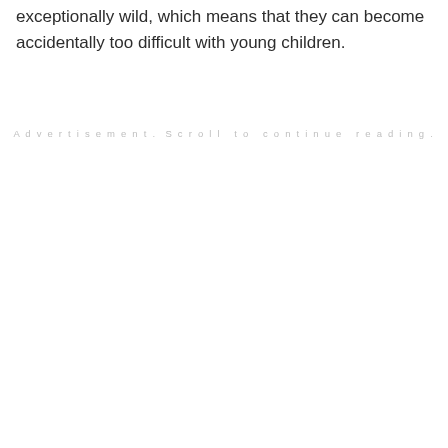exceptionally wild, which means that they can become accidentally too difficult with young children.
Advertisement. Scroll to continue reading.